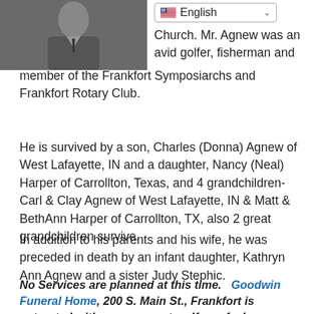[Figure (photo): Portrait photo of a man in a dark suit with a tie, upper body visible, black and white or dark toned image.]
English (language selector dropdown)
Church. Mr. Agnew was an avid golfer, fisherman and member of the Frankfort Symposiarchs and Frankfort Rotary Club.
He is survived by a son, Charles (Donna) Agnew of West Lafayette, IN and a daughter, Nancy (Neal) Harper of Carrollton, Texas, and 4 grandchildren-Carl & Clay Agnew of West Lafayette, IN & Matt & BethAnn Harper of Carrollton, TX, also 2 great grandchildren survive.
In addition to his parents and his wife, he was preceded in death by an infant daughter, Kathryn Ann Agnew and a sister Judy Stephic.
No Services are planned at this time.   Goodwin Funeral Home, 200 S. Main St., Frankfort is entrusted with arrangements.   If you feel so inclined, please make a memorial donation to the charity of your choice.  Online condolences may be left at